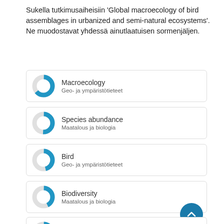Sukella tutkimusaiheisiin 'Global macroecology of bird assemblages in urbanized and semi-natural ecosystems'. Ne muodostavat yhdessä ainutlaatuisen sormenjäljen.
Macroecology / Geo- ja ympäristötieteet
Species abundance / Maatalous ja biologia
Bird / Geo- ja ympäristötieteet
Biodiversity / Maatalous ja biologia
Urbanization / Maatalous ja biologia